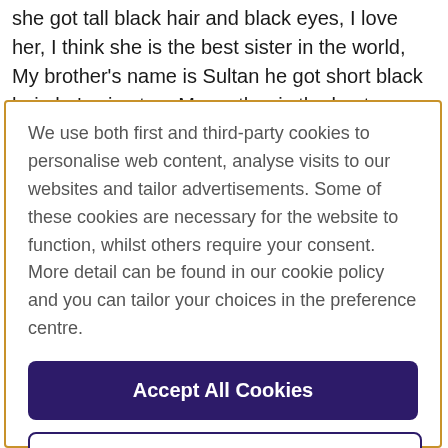she got tall black hair and black eyes, I love her, I think she is the best sister in the world, My brother's name is Sultan he got short black hair, he's nice too. My mother is the best
We use both first and third-party cookies to personalise web content, analyse visits to our websites and tailor advertisements. Some of these cookies are necessary for the website to function, whilst others require your consent. More detail can be found in our cookie policy and you can tailor your choices in the preference centre.
Accept All Cookies
Cookies Settings